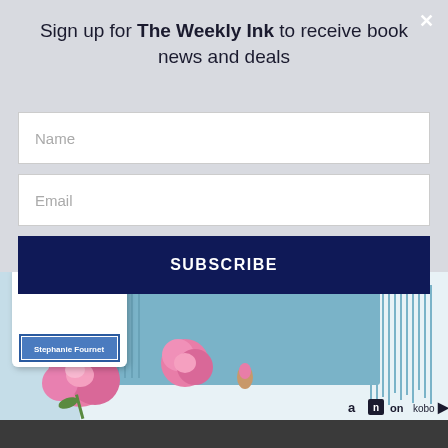Sign up for The Weekly Ink to receive book news and deals
Name
Email
SUBSCRIBE
[Figure (photo): Book cover showing author name 'Stephanie Fournet' with blue label, pink roses, and blue knitted scarf in background. Retailer icons (Amazon, Nook, Kobo) visible in bottom right.]